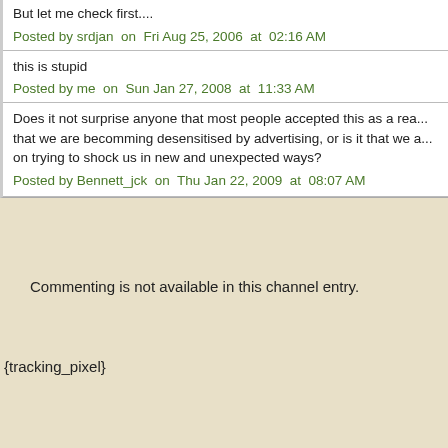But let me check first....
Posted by srdjan  on  Fri Aug 25, 2006  at  02:16 AM
this is stupid
Posted by me  on  Sun Jan 27, 2008  at  11:33 AM
Does it not surprise anyone that most people accepted this as a rea... that we are becomming desensitised by advertising, or is it that we a... on trying to shock us in new and unexpected ways?
Posted by Bennett_jck  on  Thu Jan 22, 2009  at  08:07 AM
Commenting is not available in this channel entry.
{tracking_pixel}